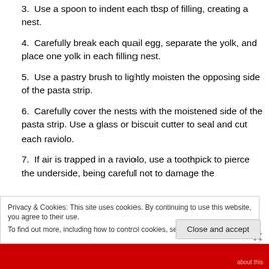3. Use a spoon to indent each tbsp of filling, creating a nest.
4. Carefully break each quail egg, separate the yolk, and place one yolk in each filling nest.
5. Use a pastry brush to lightly moisten the opposing side of the pasta strip.
6. Carefully cover the nests with the moistened side of the pasta strip. Use a glass or biscuit cutter to seal and cut each raviolo.
7. If air is trapped in a raviolo, use a toothpick to pierce the underside, being careful not to damage the
Privacy & Cookies: This site uses cookies. By continuing to use this website, you agree to their use. To find out more, including how to control cookies, see here: Cookie Policy